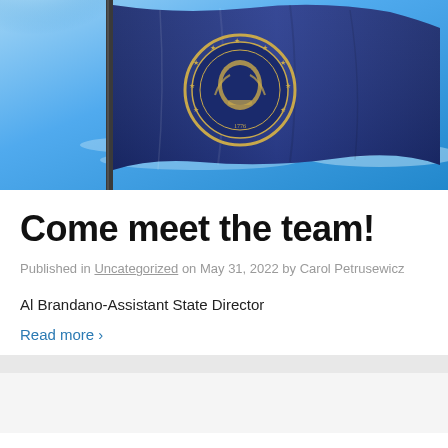[Figure (photo): New Hampshire state flag waving against a bright blue sky with sunlight shining from upper left. The flag is navy blue with the state seal featuring a golden circular design.]
Come meet the team!
Published in Uncategorized on May 31, 2022 by Carol Petrusewicz
Al Brandano-Assistant State Director
Read more ›